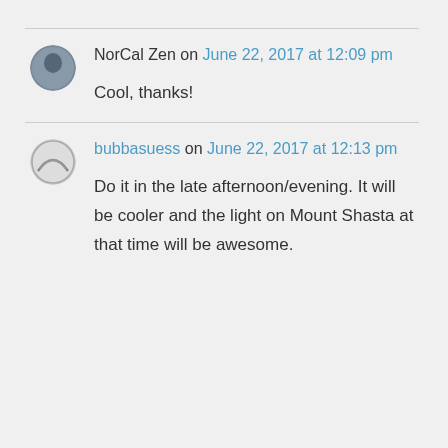NorCal Zen on June 22, 2017 at 12:09 pm
Cool, thanks!
bubbasuess on June 22, 2017 at 12:13 pm
Do it in the late afternoon/evening. It will be cooler and the light on Mount Shasta at that time will be awesome.